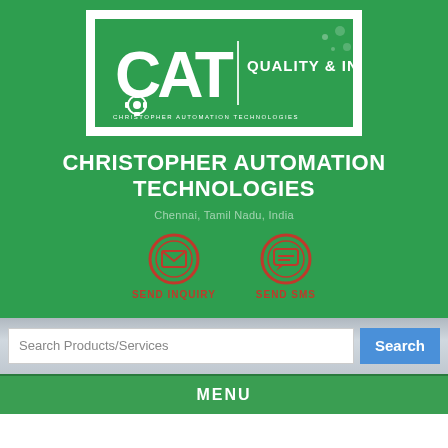[Figure (logo): Christopher Automation Technologies logo — white box on green background, CAT letters with gear icon, 'QUALITY & INNOVATION' tagline]
CHRISTOPHER AUTOMATION TECHNOLOGIES
Chennai, Tamil Nadu, India
[Figure (infographic): Two red circular icon buttons: SEND INQUIRY (envelope icon) and SEND SMS (chat icon)]
Search Products/Services
MENU
Home / Products / Induction Motors / Synchronous Servo Motors